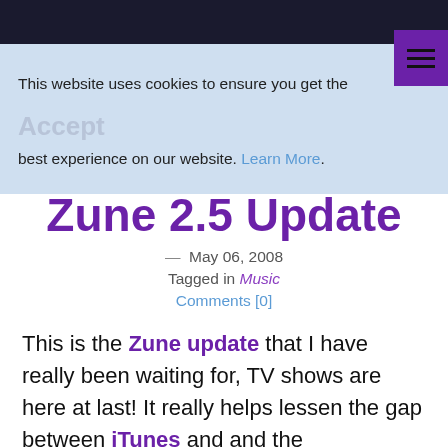This website uses cookies to ensure you get the best experience on our website. Learn More. Accept
Zune 2.5 Update
— May 06, 2008
Tagged in Music
Comments [0]
This is the Zune update that I have really been waiting for, TV shows are here at last! It really helps lessen the gap between iTunes and and the Marketplace. I am not